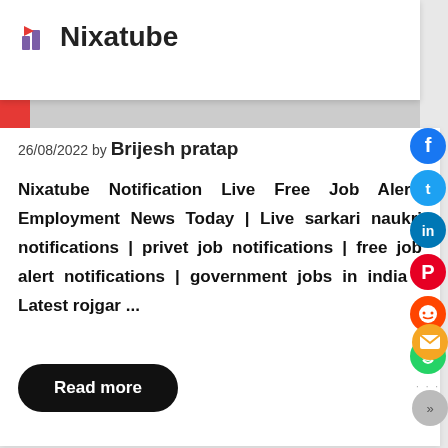Nixatube
26/08/2022 by Brijesh pratap
Nixatube Notification Live Free Job Alert! Employment News Today | Live sarkari naukri notifications | privet job notifications | free job alert notifications | government jobs in india | Latest rojgar ...
Read more